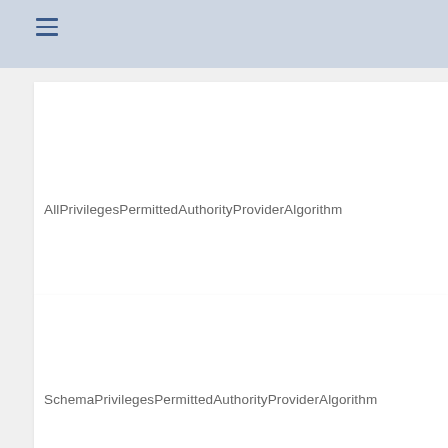≡
AllPrivilegesPermittedAuthorityProviderAlgorithm
SchemaPrivilegesPermittedAuthorityProviderAlgorithm